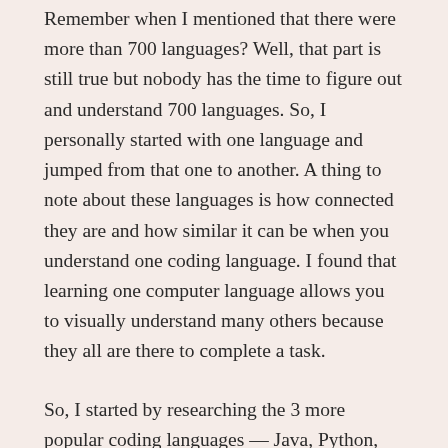Remember when I mentioned that there were more than 700 languages? Well, that part is still true but nobody has the time to figure out and understand 700 languages. So, I personally started with one language and jumped from that one to another. A thing to note about these languages is how connected they are and how similar it can be when you understand one coding language. I found that learning one computer language allows you to visually understand many others because they all are there to complete a task.
So, I started by researching the 3 more popular coding languages — Java, Python, and C# or the C Language.